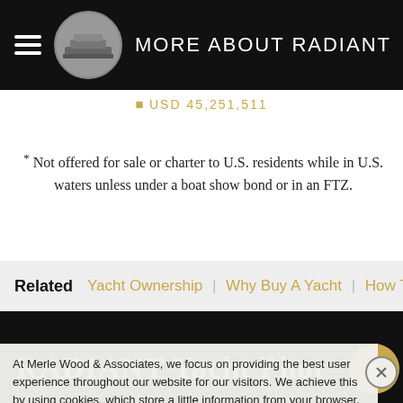MORE ABOUT RADIANT
USD 45,251,511
* Not offered for sale or charter to U.S. residents while in U.S. waters unless under a boat show bond or in an FTZ.
Related  Yacht Ownership | Why Buy A Yacht | How To Buy...
RADIANT Yacht Phot...
At Merle Wood & Associates, we focus on providing the best user experience throughout our website for our visitors. We achieve this by using cookies, which store a little information from your browser. If you would like to learn more, please see our privacy and cookies policy.